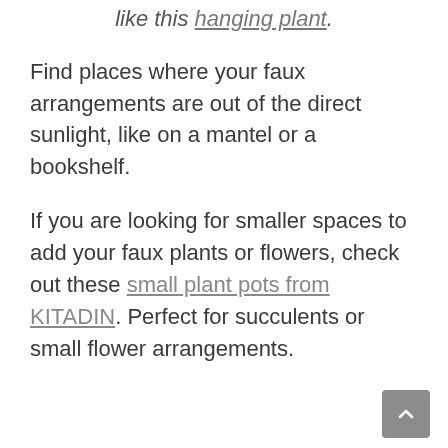like this hanging plant.
Find places where your faux arrangements are out of the direct sunlight, like on a mantel or a bookshelf.
If you are looking for smaller spaces to add your faux plants or flowers, check out these small plant pots from KITADIN. Perfect for succulents or small flower arrangements.